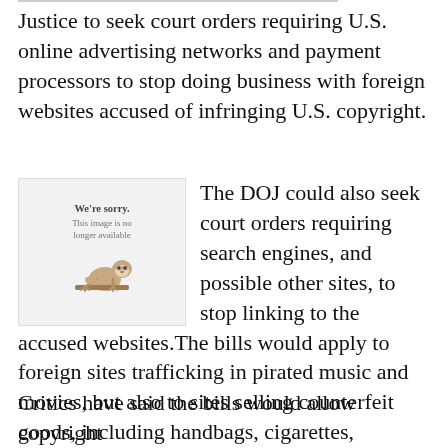Justice to seek court orders requiring U.S. online advertising networks and payment processors to stop doing business with foreign websites accused of infringing U.S. copyright.
[Figure (illustration): A placeholder image showing a cartoon sloth with text 'We're sorry. This image is no longer available']
The DOJ could also seek court orders requiring search engines, and possible other sites, to stop linking to the accused websites.The bills would apply to foreign sites trafficking in pirated music and movies, but also to sites selling counterfeit goods, including handbags, cigarettes, medicine and clothing.The bills would also allow U.S. copyright holders to seek court orders targeting ad networks and payment processors.
Critics have said the bills would allow copyright